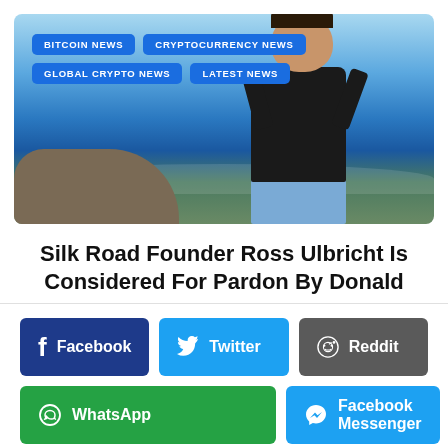[Figure (photo): Person standing on a cliff overlooking the ocean, wearing a black t-shirt and blue shorts. Blue sky with clouds in background. Category tags overlaid: BITCOIN NEWS, CRYPTOCURRENCY NEWS, GLOBAL CRYPTO NEWS, LATEST NEWS.]
Silk Road Founder Ross Ulbricht Is Considered For Pardon By Donald
[Figure (infographic): Social share buttons: Facebook (dark blue), Twitter (light blue), Reddit (dark gray), WhatsApp (green), Facebook Messenger (light blue)]